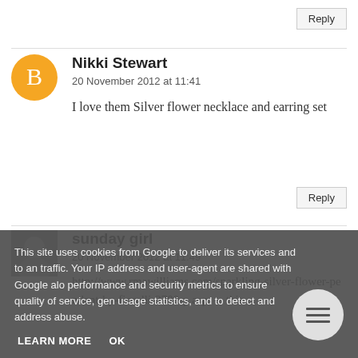Reply
Nikki Stewart
20 November 2012 at 11:41
I love them Silver flower necklace and earring set
Reply
sunday girl
20 November 2012 at 11:49
http://www.rmawilliams.com/sparkling-silver-flower-pendant-by-fiorelli-2700-p.asp - this
This site uses cookies from Google to deliver its services and to an traffic. Your IP address and user-agent are shared with Google alo performance and security metrics to ensure quality of service, gen usage statistics, and to detect and address abuse.
LEARN MORE
OK